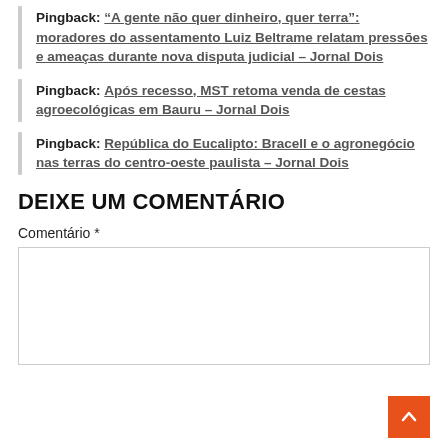Pingback: “A gente não quer dinheiro, quer terra”: moradores do assentamento Luiz Beltrame relatam pressões e ameaças durante nova disputa judicial – Jornal Dois
Pingback: Após recesso, MST retoma venda de cestas agroecológicas em Bauru – Jornal Dois
Pingback: República do Eucalipto: Bracell e o agronegócio nas terras do centro-oeste paulista – Jornal Dois
DEIXE UM COMENTÁRIO
Comentário *